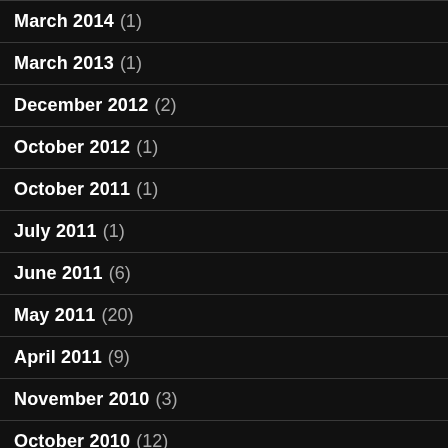March 2014 (1)
March 2013 (1)
December 2012 (2)
October 2012 (1)
October 2011 (1)
July 2011 (1)
June 2011 (6)
May 2011 (20)
April 2011 (9)
November 2010 (3)
October 2010 (12)
September 2010 (9)